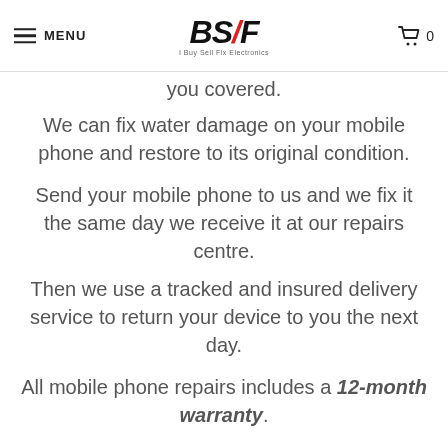MENU | BSF (Buy Sell Fix Electronics) | Cart 0
your mobile phone line from a has you covered.
We can fix water damage on your mobile phone and restore to its original condition.
Send your mobile phone to us and we fix it the same day we receive it at our repairs centre.
Then we use a tracked and insured delivery service to return your device to you the next day.
All mobile phone repairs includes a 12-month warranty.
Give us a call on 0161 228 2251 and our staff will help.